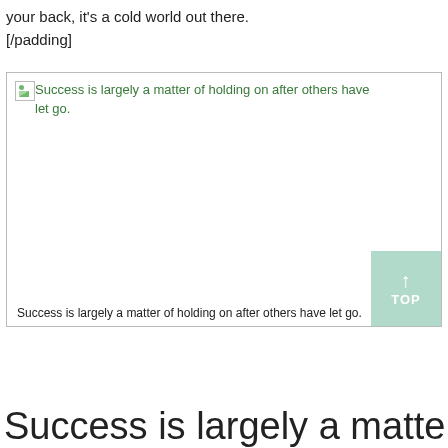your back, it's a cold world out there.
[/padding]
[Figure (other): Broken image placeholder with alt text 'Success is largely a matter of holding on after others have let go.' displayed in green, with an image caption below reading the same text.]
Success is largely a matter of holding on after others have let go.
Success is largely a matter of holding on a